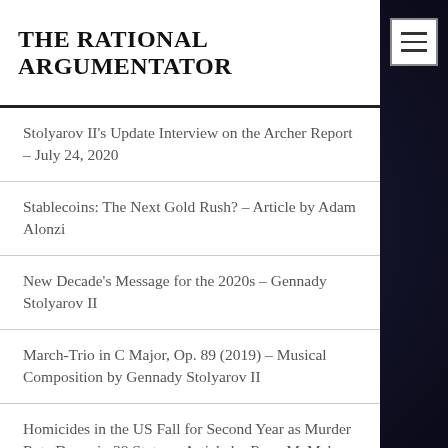THE RATIONAL ARGUMENTATOR
Stolyarov II's Update Interview on the Archer Report – July 24, 2020
Stablecoins: The Next Gold Rush? – Article by Adam Alonzi
New Decade's Message for the 2020s – Gennady Stolyarov II
March-Trio in C Major, Op. 89 (2019) – Musical Composition by Gennady Stolyarov II
Homicides in the US Fall for Second Year as Murder Rate Drops in 38 States – Article by Ryan McMaken
Politics Drops Its Pretenses – Article by Jeff Deist